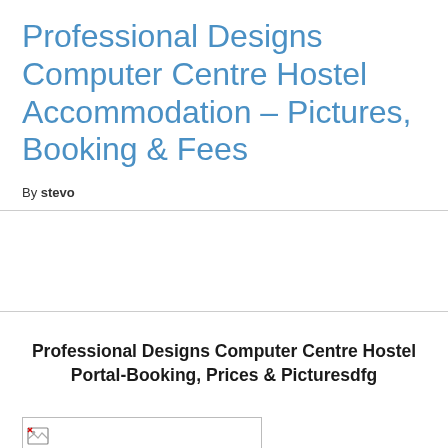Professional Designs Computer Centre Hostel Accommodation – Pictures, Booking & Fees
By stevo
Professional Designs Computer Centre Hostel Portal-Booking, Prices & Picturesdfg
[Figure (photo): Broken image placeholder — image failed to load, showing broken image icon with empty rectangle outline]